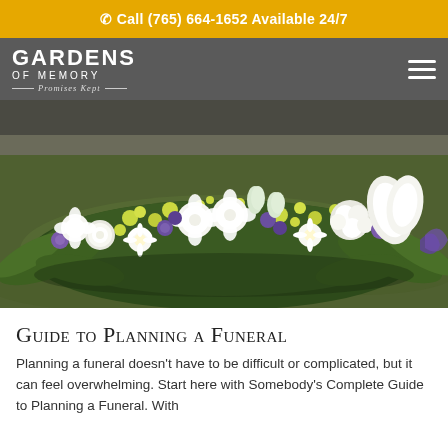☎ Call (765) 664-1652 Available 24/7
[Figure (logo): Gardens of Memory funeral home logo with tagline 'Promises Kept' on gray navigation bar with hamburger menu icon]
[Figure (photo): A floral casket spray arrangement with white roses, white carnations, white daisies, yellow-green fillers, purple hyacinths and blue flowers, arranged on green grass outdoors]
Guide to Planning a Funeral
Planning a funeral doesn't have to be difficult or complicated, but it can feel overwhelming. Start here with Somebody's Complete Guide to Planning a Funeral. With